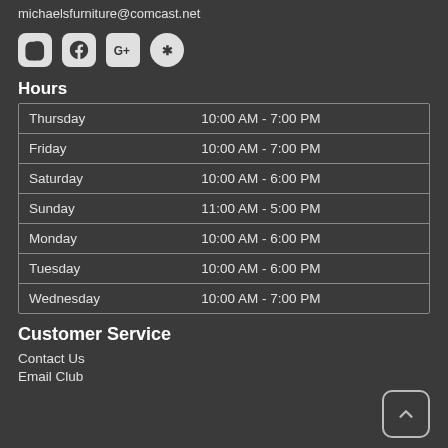michaelsfurniture@comcast.net
[Figure (other): Social media icons: Instagram, Facebook, Google+, Yelp]
Hours
| Day | Hours |
| --- | --- |
| Thursday | 10:00 AM - 7:00 PM |
| Friday | 10:00 AM - 7:00 PM |
| Saturday | 10:00 AM - 6:00 PM |
| Sunday | 11:00 AM - 5:00 PM |
| Monday | 10:00 AM - 6:00 PM |
| Tuesday | 10:00 AM - 6:00 PM |
| Wednesday | 10:00 AM - 7:00 PM |
Customer Service
Contact Us
Email Club